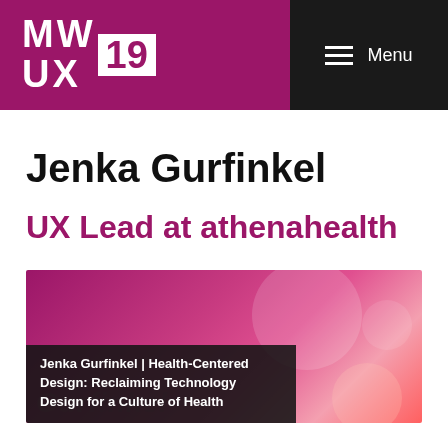[Figure (logo): MWUX19 logo — white text on magenta background with '19' in a white box]
Menu
Jenka Gurfinkel
UX Lead at athenahealth
[Figure (screenshot): Thumbnail of a talk video with colorful abstract background and watermark text 'Gurfinkel']
Jenka Gurfinkel | Health-Centered Design: Reclaiming Technology Design for a Culture of Health